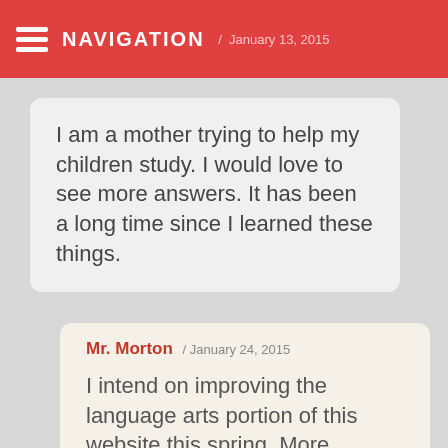NAVIGATION / January 13, 2015
I am a mother trying to help my children study. I would love to see more answers. It has been a long time since I learned these things.
Mr. Morton / January 24, 2015
I intend on improving the language arts portion of this website this spring. More answer keys, leveled activities, and